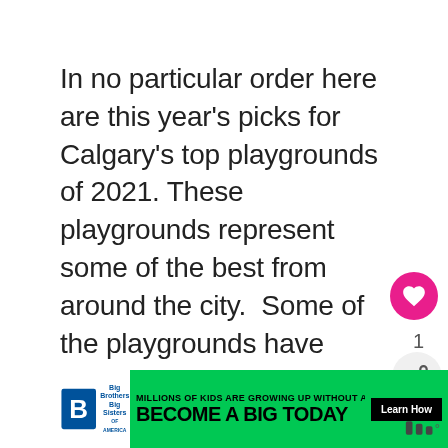In no particular order here are this year's picks for Calgary's top playgrounds of 2021. These playgrounds represent some of the best from around the city.  Some of the playgrounds have been on the list before but most of them are new this year. 1. 4th Avenue Flyover Park 651 McDougall Rd NE Flyover Park … Read more
[Figure (other): Advertisement banner: Big Brothers Big Sisters logo on white background, green banner reading 'MILLIONS OF KIDS ARE GROWING UP WITHOUT A MENTOR - BECOME A BIG TODAY' with a black Learn How button]